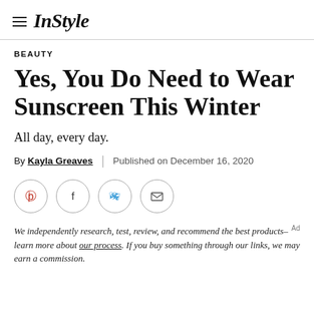InStyle
BEAUTY
Yes, You Do Need to Wear Sunscreen This Winter
All day, every day.
By Kayla Greaves | Published on December 16, 2020
[Figure (other): Social sharing icons: Pinterest, Facebook, Twitter, Email]
We independently research, test, review, and recommend the best products–learn more about our process. If you buy something through our links, we may earn a commission.